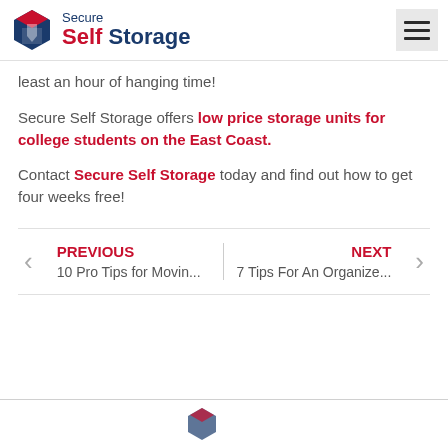Secure Self Storage
least an hour of hanging time!
Secure Self Storage offers low price storage units for college students on the East Coast.
Contact Secure Self Storage today and find out how to get four weeks free!
PREVIOUS: 10 Pro Tips for Movin... | NEXT: 7 Tips For An Organize...